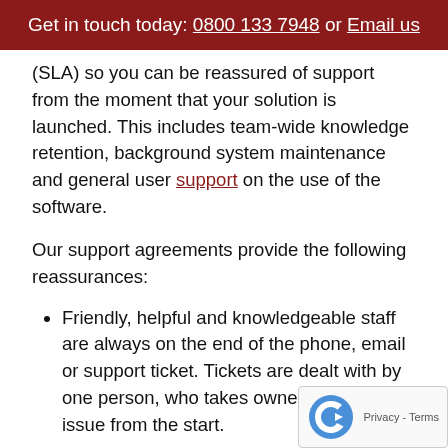Get in touch today: 0800 133 7948 or Email us
(SLA) so you can be reassured of support from the moment that your solution is launched. This includes team-wide knowledge retention, background system maintenance and general user support on the use of the software.
Our support agreements provide the following reassurances:
Friendly, helpful and knowledgeable staff are always on the end of the phone, email or support ticket. Tickets are dealt with by one person, who takes ownership of your issue from the start.
We will help you with anything in terms of using the solution's functionality.
SLA support and resolutions within estimated time periods.